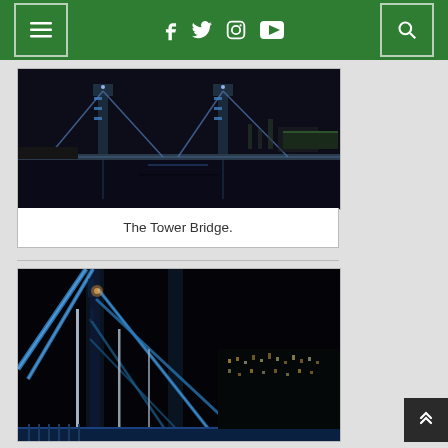Navigation bar with menu, social icons (Facebook, Twitter, Instagram, YouTube), and search
[Figure (photo): Night photograph of Tower Bridge in London, view from the riverbank showing the bridge lit up with blue-white lights over the Thames river]
The Tower Bridge.
[Figure (photo): Close-up night photograph of Tower Bridge in London, showing the iconic blue suspension cables and towers illuminated against a dark sky, with city lights in the background]